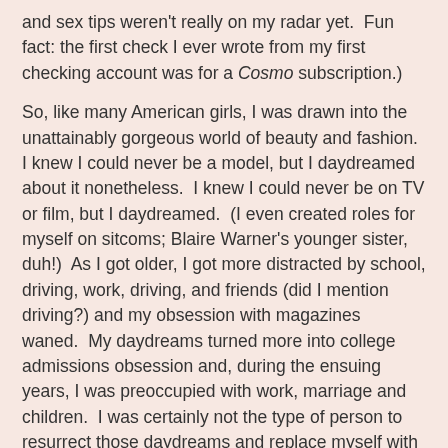and sex tips weren't really on my radar yet.  Fun fact: the first check I ever wrote from my first checking account was for a Cosmo subscription.)
So, like many American girls, I was drawn into the unattainably gorgeous world of beauty and fashion.  I knew I could never be a model, but I daydreamed about it nonetheless.  I knew I could never be on TV or film, but I daydreamed.  (I even created roles for myself on sitcoms; Blaire Warner's younger sister, duh!)  As I got older, I got more distracted by school, driving, work, driving, and friends (did I mention driving?) and my obsession with magazines waned.  My daydreams turned more into college admissions obsession and, during the ensuing years, I was preoccupied with work, marriage and children.  I was certainly not the type of person to resurrect those daydreams and replace myself with my children.  Here I am, though, a model mom.  Though I know my tiny daughter (and by tiny, I mean 10th percentile for height for her age) will never be a teen or adult model, there had to be something that intrigued me about those glossy pages for me to pursue any type of modeling for my child.  Though I don't always like to admit it, I'm sure